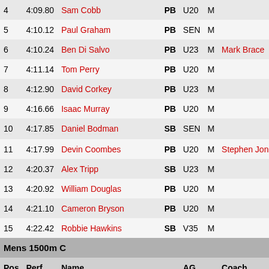| Pos | Perf | Name |  | AG |  | Coach |
| --- | --- | --- | --- | --- | --- | --- |
| 4 | 4:09.80 | Sam Cobb | PB | U20 | M |  |
| 5 | 4:10.12 | Paul Graham | PB | SEN | M |  |
| 6 | 4:10.24 | Ben Di Salvo | PB | U23 | M | Mark Brace |
| 7 | 4:11.14 | Tom Perry | PB | U20 | M |  |
| 8 | 4:12.90 | David Corkey | PB | U23 | M |  |
| 9 | 4:16.66 | Isaac Murray | PB | U20 | M |  |
| 10 | 4:17.85 | Daniel Bodman | SB | SEN | M |  |
| 11 | 4:17.99 | Devin Coombes | PB | U20 | M | Stephen Jones |
| 12 | 4:20.37 | Alex Tripp | SB | U23 | M |  |
| 13 | 4:20.92 | William Douglas | PB | U20 | M |  |
| 14 | 4:21.10 | Cameron Bryson | PB | U20 | M |  |
| 15 | 4:22.42 | Robbie Hawkins | SB | V35 | M |  |
| SECTION | Mens 1500m C |  |  |  |  |  |
| Pos | Perf | Name |  | AG |  | Coach |
| 1 | 4:28.32 | Daniel Fisher | PB | U17 | M | Dave Lee |
| 2 | 4:31.40 | Charlie Hague | PB | U15 | M |  |
| 3 | 4:33.61 | Benjamin Collins | PB | U15 | M |  |
| 4 | 4:34.89 | James McKibbin T20/F20 |  | SEN | M | Mark Brace |
| 5 | 4:35.29 | Philip Roberts | SB | V40 | M | Charlotte Fish |
| 6 | 4:36.75 | Jon James |  | V55 | M |  |
| 7 | 4:38.25 | Ryan Reed | PB | U15 | M |  |
| 8 | 4:39.91 | Logan Harvey | PB | U15 | M |  |
| 9 | 4:42.14 | Ben Westcott |  | U17 | M |  |